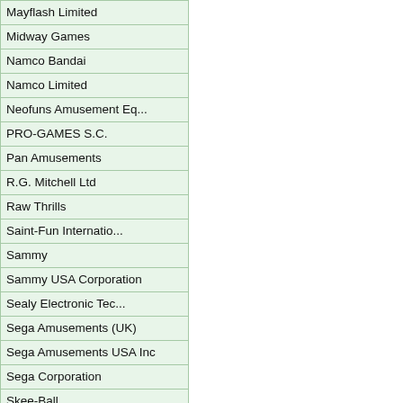| Mayflash Limited |
| Midway Games |
| Namco Bandai |
| Namco Limited |
| Neofuns Amusement Eq... |
| PRO-GAMES S.C. |
| Pan Amusements |
| R.G. Mitchell Ltd |
| Raw Thrills |
| Saint-Fun Internatio... |
| Sammy |
| Sammy USA Corporation |
| Sealy Electronic Tec... |
| Sega Amusements (UK) |
| Sega Amusements USA Inc |
| Sega Corporation |
| Skee-Ball |
| Square Enix |
| Super Wing Animation... |
| Taito Corporation |
| Tengye Hardware Inc |
| Trio-Tech Amusement |
| TrioTech Amusement Inc. |
| Unit-e Technologies |
| Universal Space Amus... |